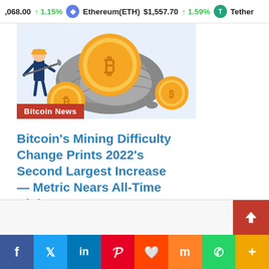068.00 ↑ 1.15%  Ethereum(ETH) $1,557.70 ↑ 1.59%  Tether
[Figure (illustration): Bitcoin mining illustration showing a person mining rocks with large gold Bitcoin coins and grey boulders, with a red 'Bitcoin News' badge overlay at the bottom left]
Bitcoin's Mining Difficulty Change Prints 2022's Second Largest Increase — Metric Nears All-Time High
2 hours ago